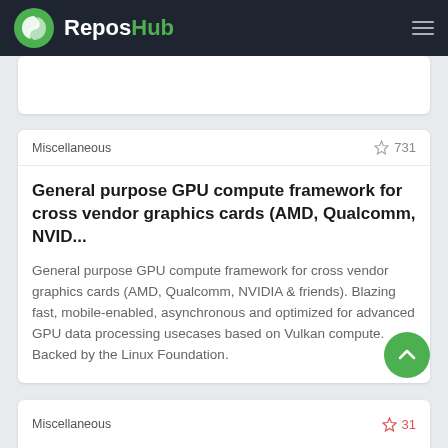ReposHub
Miscellaneous   ☆ 731
General purpose GPU compute framework for cross vendor graphics cards (AMD, Qualcomm, NVID...
General purpose GPU compute framework for cross vendor graphics cards (AMD, Qualcomm, NVIDIA & friends). Blazing fast, mobile-enabled, asynchronous and optimized for advanced GPU data processing usecases based on Vulkan compute. Backed by the Linux Foundation.
Miscellaneous   ☆ 31